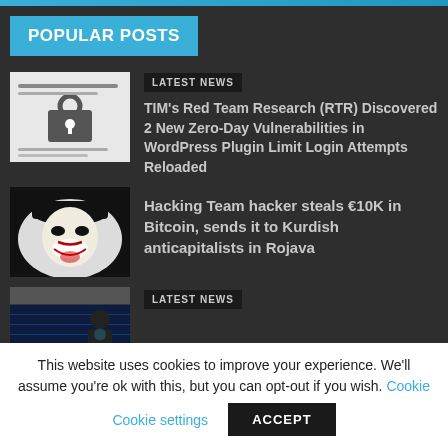POPULAR POSTS
[Figure (screenshot): Thumbnail image for article about brute force protection, showing a padlock and login form graphic]
LATEST NEWS
TIM’s Red Team Research (RTR) Discovered 2 New Zero-Day Vulnerabilities in WordPress Plugin Limit Login Attempts Reloaded
[Figure (photo): Anonymous hacker mask image, black and white]
Hacking Team hacker steals €10K in Bitcoin, sends it to Kurdish anticapitalists in Rojava
[Figure (screenshot): Cyber security themed image, partial view, blue tones with figure]
LATEST NEWS
This website uses cookies to improve your experience. We’ll assume you’re ok with this, but you can opt-out if you wish. Cookie settings
ACCEPT